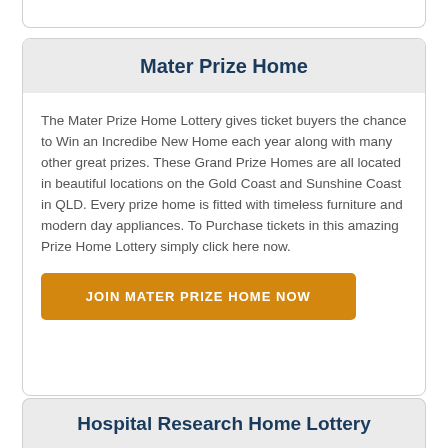Mater Prize Home
The Mater Prize Home Lottery gives ticket buyers the chance to Win an Incredibe New Home each year along with many other great prizes. These Grand Prize Homes are all located in beautiful locations on the Gold Coast and Sunshine Coast in QLD. Every prize home is fitted with timeless furniture and modern day appliances. To Purchase tickets in this amazing Prize Home Lottery simply click here now.
JOIN MATER PRIZE HOME NOW
Hospital Research Home Lottery